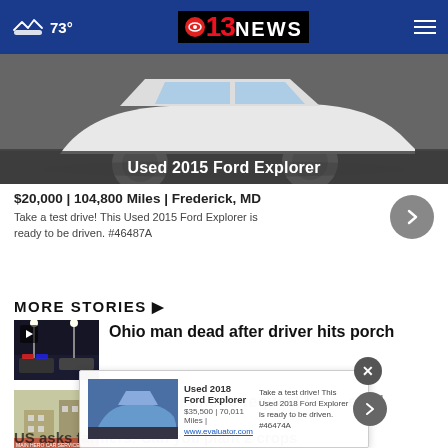73° | 13 News
[Figure (photo): Used 2015 Ford Explorer car advertisement photo with dark overlay showing car title]
$20,000 | 104,800 Miles | Frederick, MD
Take a test drive! This Used 2015 Ford Explorer is ready to be driven. #46487A
MORE STORIES ▶
Ohio man dead after driver hits porch
US to respond to request for special
US asks farmers: Can you plant 2 crops
[Figure (screenshot): Popup advertisement for Used 2018 Ford Explorer with price and description]